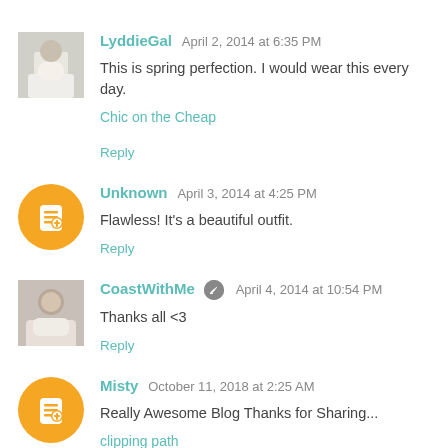LydddieGal April 2, 2014 at 6:35 PM
This is spring perfection. I would wear this every day.
Chic on the Cheap
Reply
Unknown April 3, 2014 at 4:25 PM
Flawless! It's a beautiful outfit.
Reply
CoastWithMe April 4, 2014 at 10:54 PM
Thanks all <3
Reply
Misty October 11, 2018 at 2:25 AM
Really Awesome Blog Thanks for Sharing...
clipping path
clipping path service